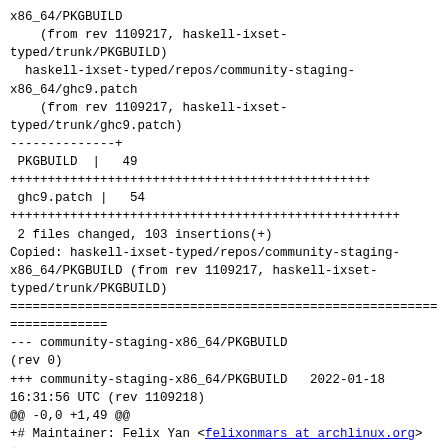x86_64/PKGBUILD
    (from rev 1109217, haskell-ixset-typed/trunk/PKGBUILD)
  haskell-ixset-typed/repos/community-staging-x86_64/ghc9.patch
    (from rev 1109217, haskell-ixset-typed/trunk/ghc9.patch)
--------------+
 PKGBUILD  |   49
++++++++++++++++++++++++++++++++++++++++++++++++
 ghc9.patch |   54
++++++++++++++++++++++++++++++++++++++++++++++++++++
 2 files changed, 103 insertions(+)
Copied: haskell-ixset-typed/repos/community-staging-x86_64/PKGBUILD (from rev 1109217, haskell-ixset-typed/trunk/PKGBUILD)
======================================================================
--- community-staging-x86_64/PKGBUILD
(rev 0)
+++ community-staging-x86_64/PKGBUILD    2022-01-18 16:31:56 UTC (rev 1109218)
@@ -0,0 +1,49 @@
+# Maintainer: Felix Yan <felixonmars at archlinux.org>
+
+_hkgname=ixset-typed
+pkgname=haskell-ixset-typed
+pkgver=0.5
+pkgrel=222